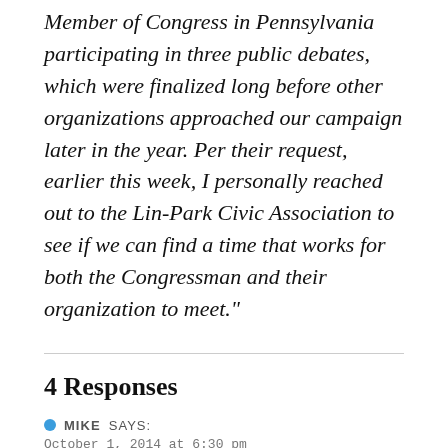Member of Congress in Pennsylvania participating in three public debates, which were finalized long before other organizations approached our campaign later in the year. Per their request, earlier this week, I personally reached out to the Lin-Park Civic Association to see if we can find a time that works for both the Congressman and their organization to meet."
4 Responses
MIKE SAYS:
October 1, 2014 at 6:30 pm
Man Strouse looks like an alien. After the race feel free to “beam him up” with ET. His campaign is a joke and this